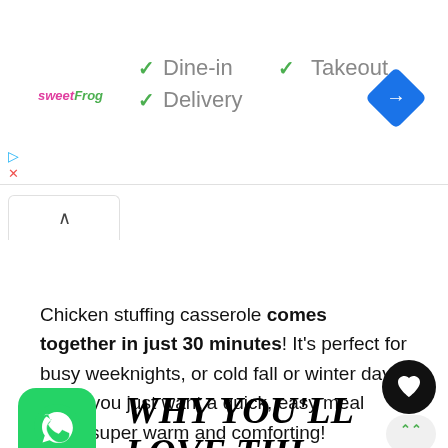[Figure (screenshot): SweetFrog logo with pink 'sweet' and green 'Frog' text]
✓ Dine-in
✓ Takeout
✓ Delivery
[Figure (other): Blue navigation diamond/arrow icon]
[Figure (other): Collapse/chevron-up tab button]
Chicken stuffing casserole comes together in just 30 minutes! It's perfect for busy weeknights, or cold fall or winter days when you just want a quick, easy meal that's super warm and comforting!
WHY YOU'LL LOVE THIS RECIPE!
[Figure (other): Black circular heart/save button]
[Figure (other): Scroll up button with double chevron]
[Figure (other): WhatsApp green icon]